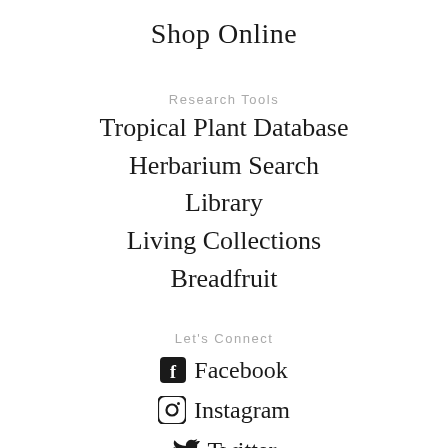Shop Online
Research Tools
Tropical Plant Database
Herbarium Search
Library
Living Collections
Breadfruit
Let's Connect
Facebook
Instagram
Twitter
YouTube